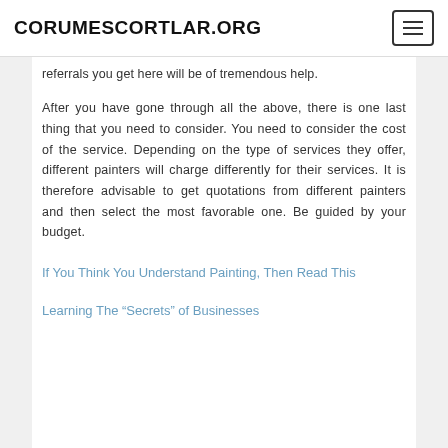CORUMESCORTLAR.ORG
referrals you get here will be of tremendous help.
After you have gone through all the above, there is one last thing that you need to consider. You need to consider the cost of the service. Depending on the type of services they offer, different painters will charge differently for their services. It is therefore advisable to get quotations from different painters and then select the most favorable one. Be guided by your budget.
If You Think You Understand Painting, Then Read This
Learning The “Secrets” of Businesses